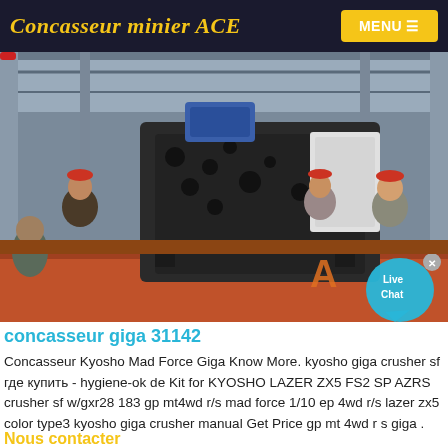Concasseur minier ACE
[Figure (photo): Industrial photo of workers loading or moving a large mining crusher machine (impact crusher) onto a flatbed truck inside a factory/warehouse. Two workers in red hard hats are visible. ACE company logo visible in corner with Live Chat bubble overlay.]
concasseur giga 31142
Concasseur Kyosho Mad Force Giga Know More. kyosho giga crusher sf где купить - hygiene-ok de Kit for KYOSHO LAZER ZX5 FS2 SP AZRS crusher sf w/gxr28 183 gp mt4wd r/s mad force 1/10 ep 4wd r/s lazer zx5 color type3 kyosho giga crusher manual Get Price gp mt 4wd r s giga .
Nous contacter